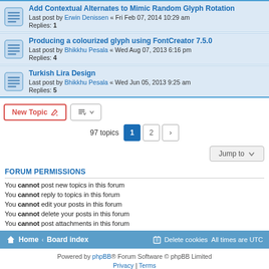Add Contextual Alternates to Mimic Random Glyph Rotation — Last post by Erwin Denissen « Fri Feb 07, 2014 10:29 am — Replies: 1
Producing a colourized glyph using FontCreator 7.5.0 — Last post by Bhikkhu Pesala « Wed Aug 07, 2013 6:16 pm — Replies: 4
Turkish Lira Design — Last post by Bhikkhu Pesala « Wed Jun 05, 2013 9:25 am — Replies: 5
New Topic | Sort | 97 topics | Page 1 2 >
Jump to
FORUM PERMISSIONS
You cannot post new topics in this forum
You cannot reply to topics in this forum
You cannot edit your posts in this forum
You cannot delete your posts in this forum
You cannot post attachments in this forum
Home · Board index | Delete cookies | All times are UTC
Powered by phpBB® Forum Software © phpBB Limited | Privacy | Terms